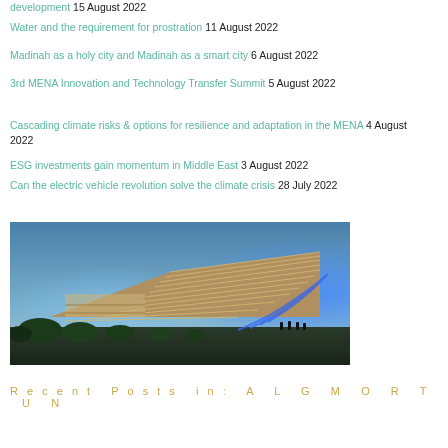development 15 August 2022
Water and the requirement for prostration 11 August 2022
Madinah as a holy city and Madinah as a smart city 6 August 2022
3rd MENA Innovation and Technology Transfer Summit 5 August 2022
Cascading climate risks & options for resilience and adaptation in the MENA 4 August 2022
ESG investments gain momentum in Middle East 3 August 2022
Can the electric vehicle revolution solve the climate crisis 28 July 2022
[Figure (photo): Futuristic building with illuminated wing-like roof structure photographed at night with blue lighting]
Recent Posts in: A L G M O R T U N